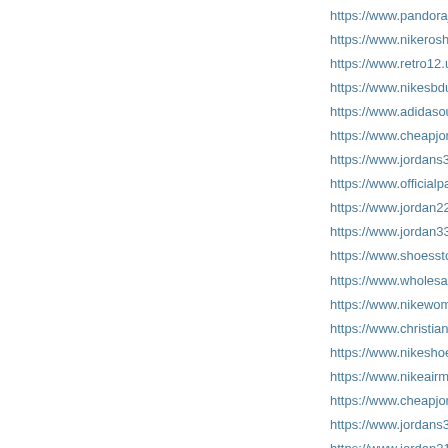https://www.pandorajewelrych...
https://www.nikerosheblazer.us...
https://www.retro12.us/ Jordan...
https://www.nikesbdunk.us.com...
https://www.adidasoutletstore....
https://www.cheapjordansshoe...
https://www.jordans34.us/ Air...
https://www.officialpandorajev...
https://www.jordan22.us/ Jordan...
https://www.jordan33.us.org/ J...
https://www.shoesstores.ca/ Ni...
https://www.wholesaleshoesclo...
https://www.nikewomensshoes...
https://www.christianslouboutin...
https://www.nikeshoesdeals.us...
https://www.nikeairmax270s.u...
https://www.cheapjordanshoes...
https://www.jordans32.us/ Air...
https://www.jordan21.us/ Jordan...
https://www.pandora-jewelrysi...
https://www.jordan31.us/ Jordan...
https://www.newjordans.us.org...
https://www...